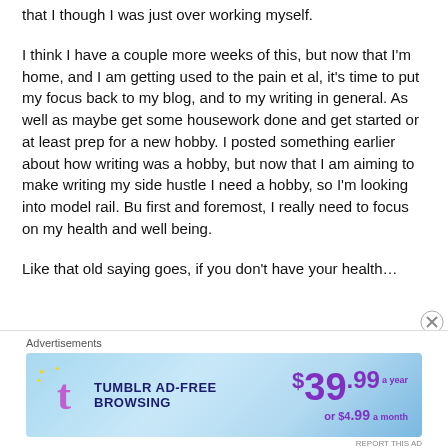that I though I was just over working myself.
I think I have a couple more weeks of this, but now that I'm home, and I am getting used to the pain et al, it's time to put my focus back to my blog, and to my writing in general. As well as maybe get some housework done and get started or at least prep for a new hobby. I posted something earlier about how writing was a hobby, but now that I am aiming to make writing my side hustle I need a hobby, so I'm looking into model rail. Bu first and foremost, I really need to focus on my health and well being.
Like that old saying goes, if you don't have your health…
Advertisements
[Figure (other): Tumblr Ad-Free Browsing advertisement banner showing $39.99 a year or $4.99 a month pricing with Tumblr logo]